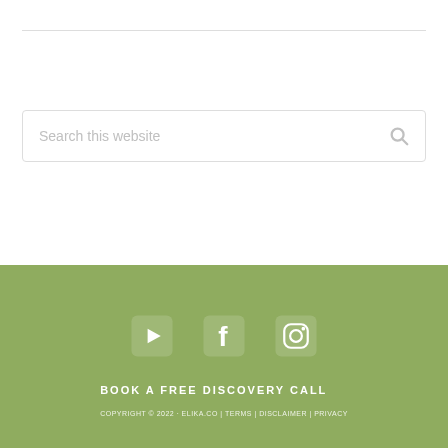[Figure (screenshot): Search box with placeholder text 'Search this website' and a search magnifier icon on the right]
YouTube, Facebook, Instagram social icons; BOOK A FREE DISCOVERY CALL; COPYRIGHT © 2022 · ELIKA.CO | TERMS | DISCLAIMER | PRIVACY